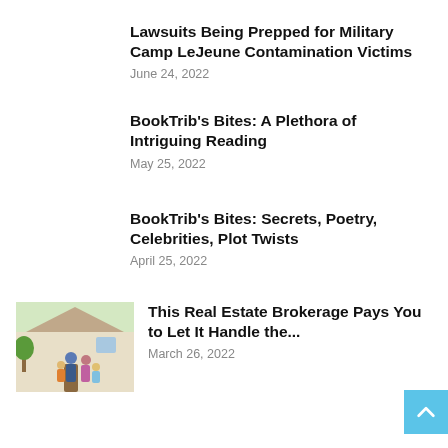Lawsuits Being Prepped for Military Camp LeJeune Contamination Victims
June 24, 2022
BookTrib's Bites: A Plethora of Intriguing Reading
May 25, 2022
BookTrib's Bites: Secrets, Poetry, Celebrities, Plot Twists
April 25, 2022
[Figure (photo): Family of four (man, woman, and two children) standing in front of a house]
This Real Estate Brokerage Pays You to Let It Handle the...
March 26, 2022